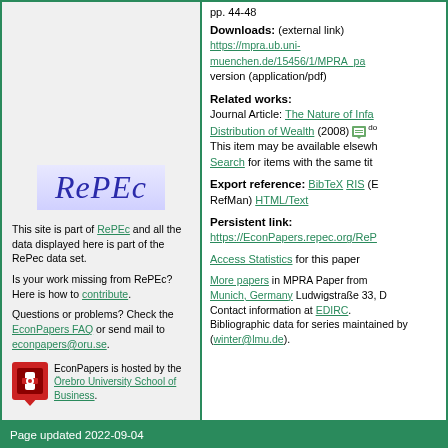pp. 44-48
Downloads: (external link)
https://mpra.ub.uni-muenchen.de/15456/1/MPRA_pa version (application/pdf)
Related works:
Journal Article: The Nature of Infa Distribution of Wealth (2008) [icon] This item may be available elsewh Search for items with the same tit
Export reference:
BibTeX RIS (E RefMan) HTML/Text
Persistent link:
https://EconPapers.repec.org/ReP
Access Statistics for this paper
More papers in MPRA Paper from Munich, Germany Ludwigstraße 33, D Contact information at EDIRC. Bibliographic data for series maintained by (winter@lmu.de).
[Figure (logo): RePEc logo - italic serif text on light blue/purple gradient background]
This site is part of RePEc and all the data displayed here is part of the RePec data set.
Is your work missing from RePEc? Here is how to contribute.
Questions or problems? Check the EconPapers FAQ or send mail to econpapers@oru.se.
[Figure (logo): Örebro University School of Business red shield/crest logo icon]
EconPapers is hosted by the Örebro University School of Business.
Page updated 2022-09-04